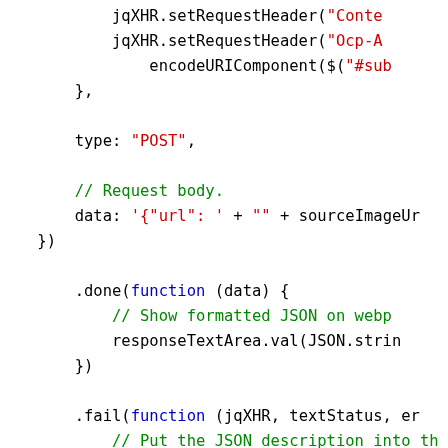[Figure (screenshot): Code snippet showing JavaScript AJAX code with jQuery, including setRequestHeader calls, POST type, data payload, .done() and .fail() callback handlers with error handling logic. Syntax highlighted: keywords in blue, strings in red, comments in green.]